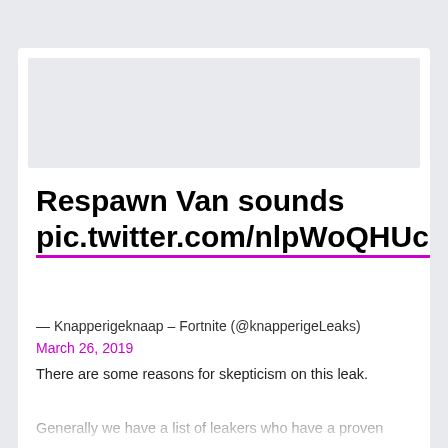[Figure (screenshot): Partial screenshot of an embedded tweet or web article showing a tweet by @knapperigeLeaks about 'Respawn Van sounds' with a pic.twitter.com link, dated March 26, 2019, with commentary about skepticism on the leak.]
Respawn Van sounds pic.twitter.com/nlpWoQHUcN
— Knapperigeknaap – Fortnite (@knapperigeLeaks)
March 26, 2019
There are some reasons for skepticism on this leak.
Generally we have a list of leakers who have a proven...